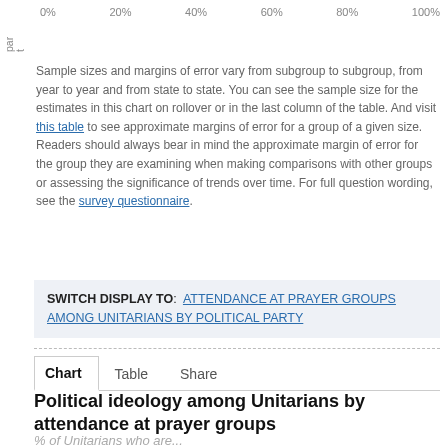[Figure (other): Top partial view of a horizontal bar chart showing percentage axis labels: 0%, 20%, 40%, 60%, 80%, 100%, with a rotated y-axis label stub 'par...' visible at left]
Sample sizes and margins of error vary from subgroup to subgroup, from year to year and from state to state. You can see the sample size for the estimates in this chart on rollover or in the last column of the table. And visit this table to see approximate margins of error for a group of a given size. Readers should always bear in mind the approximate margin of error for the group they are examining when making comparisons with other groups or assessing the significance of trends over time. For full question wording, see the survey questionnaire.
SWITCH DISPLAY TO: ATTENDANCE AT PRAYER GROUPS AMONG UNITARIANS BY POLITICAL PARTY
Chart   Table   Share
Political ideology among Unitarians by attendance at prayer groups
% of Unitarians who are...
Conservative